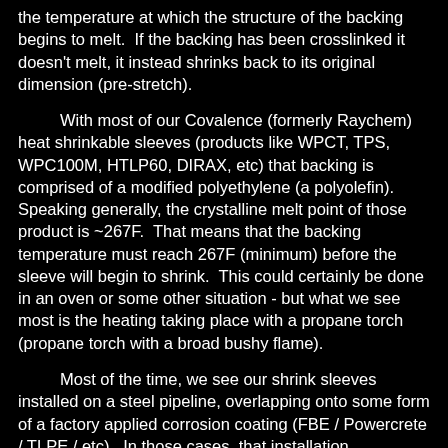the temperature at which the structure of the backing begins to melt.  If the backing has been crosslinked it doesn't melt, it instead shrinks back to its original dimension (pre-stretch).
With most of our Covalence (formerly Raychem) heat shrinkable sleeves (products like WPCT, TPS, WPC100M, HTLP60, DIRAX, etc) that backing is comprised of a modified polyethylene (a polyolefin).  Speaking generally, the crystalline melt point of those product is ~267F.  That means that the backing temperature must reach 267F (minimum) before the sleeve will begin to shrink.  This could certainly be done in an oven or some other situation - but what we see most is the heating taking place with a propane torch (propane torch with a broad bushy flame).
Most of the time, we see our shrink sleeves installed on a steel pipeline, overlapping onto some form of a factory applied corrosion coating (FBE / Powercrete / TLPE / etc).  In those cases, that installation temperature is not a big deal.  Most of those coatings (FBE and TLPE at least) are often seeing temperaturese greater to or equal to that during the original application time.  In some cases though, there